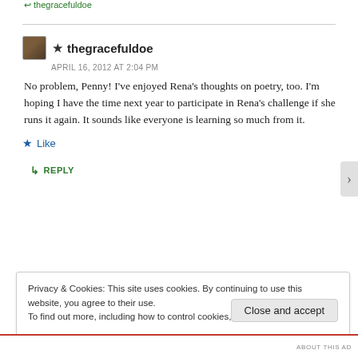↩ thegracefuldoe — APRIL 16, 2012 AT 2:04 PM
No problem, Penny! I've enjoyed Rena's thoughts on poetry, too. I'm hoping I have the time next year to participate in Rena's challenge if she runs it again. It sounds like everyone is learning so much from it.
★ Like
↳ REPLY
Privacy & Cookies: This site uses cookies. By continuing to use this website, you agree to their use.
To find out more, including how to control cookies, see here: Cookie Policy
Close and accept